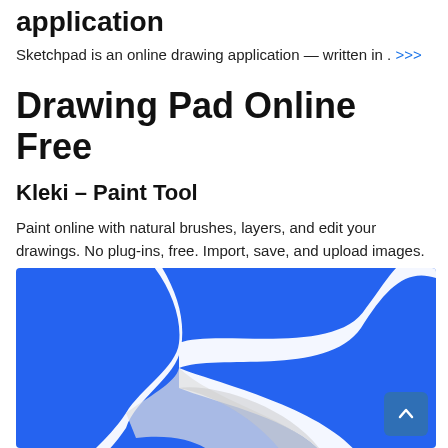application
Sketchpad is an online drawing application — written in . >>>
Drawing Pad Online Free
Kleki – Paint Tool
Paint online with natural brushes, layers, and edit your drawings. No plug-ins, free. Import, save, and upload images. Inspired by Paint Tool SAI, … >>>
[Figure (illustration): Blue background with a white curved bird/logo shape, partial view. Scroll-to-top button in bottom right corner.]